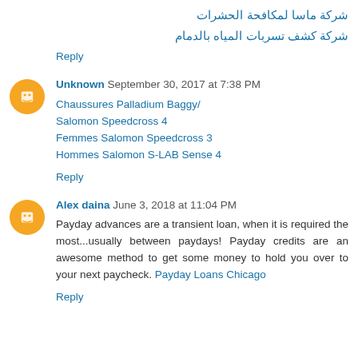شركة ماسا لمكافحة الحشرات
شركة كشف تسربات المياه بالدمام
Reply
Unknown September 30, 2017 at 7:38 PM
Chaussures Palladium Baggy/
Salomon Speedcross 4
Femmes Salomon Speedcross 3
Hommes Salomon S-LAB Sense 4
Reply
Alex daina June 3, 2018 at 11:04 PM
Payday advances are a transient loan, when it is required the most...usually between paydays! Payday credits are an awesome method to get some money to hold you over to your next paycheck. Payday Loans Chicago
Reply